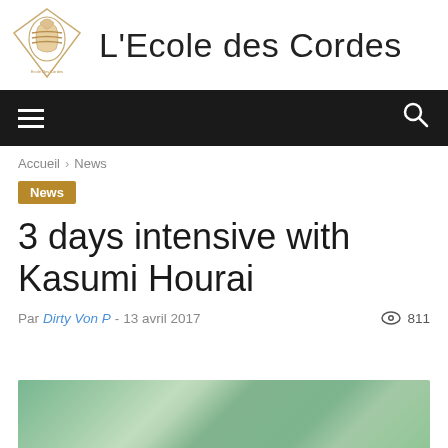[Figure (logo): L'Ecole des Cordes diamond-shaped logo with rope/knot figure inside]
L'Ecole des Cordes
[Figure (infographic): Black navigation bar with hamburger menu icon on left and search icon on right]
Accueil › News
News
3 days intensive with Kasumi Hourai
Par Dirty Von P - 13 avril 2017   811
[Figure (photo): Partial photo of a person in a rope bondage scene with green/teal background]